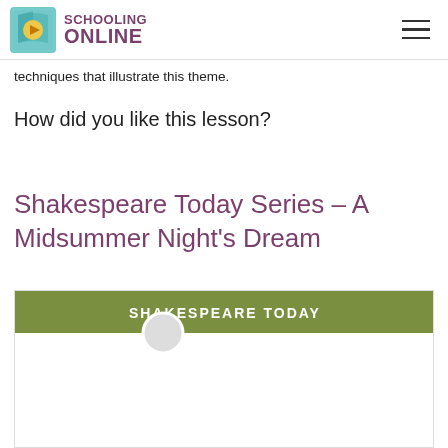SCHOOLING ONLINE
techniques that illustrate this theme.
How did you like this lesson?
Shakespeare Today Series – A Midsummer Night's Dream
[Figure (screenshot): Video thumbnail for Shakespeare Today series showing a green header bar with text 'SHAKESPEARE TODAY' in white bold letters and a circular avatar partially visible below the bar, with a white content area beneath.]